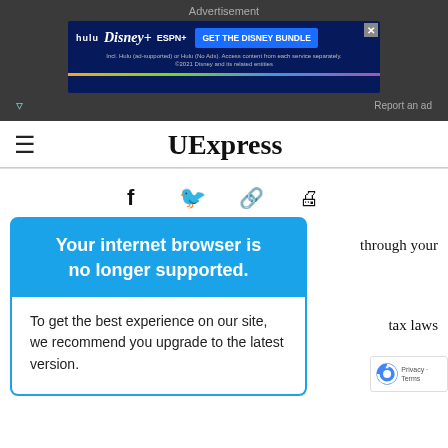Advertisement
[Figure (screenshot): Disney Bundle advertisement banner showing Hulu, Disney+, ESPN+ logos and 'GET THE DISNEY BUNDLE' call-to-action button on dark blue background]
Report an ad
UExpress
[Figure (infographic): Social share icons: Facebook (f), Twitter (bird), link/chain, print]
Your internet browser is no longer supported.
To get the best experience on our site, we recommend you upgrade to the latest version.
through your
tax laws
uest or e